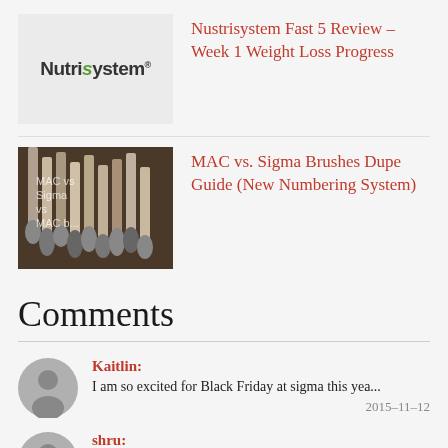[Figure (photo): Nutrisystem logo on white/grey background thumbnail]
Nustrisystem Fast 5 Review – Week 1 Weight Loss Progress
[Figure (photo): Makeup brushes photo thumbnail with text overlay 'MAC vs Sigma']
MAC vs. Sigma Brushes Dupe Guide (New Numbering System)
Comments
Kaitlin: I am so excited for Black Friday at sigma this yea...
2015-11-12
shru: There will be no minimum order needed to ship to S...
2015-11-12